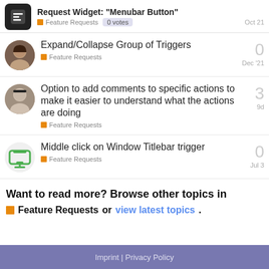Request Widget: “Menubar Button” — Feature Requests · 0 votes · Oct 21
Expand/Collapse Group of Triggers — Feature Requests — 0 — Dec '21
Option to add comments to specific actions to make it easier to understand what the actions are doing — Feature Requests — 3 — 9d
Middle click on Window Titlebar trigger — Feature Requests — 0 — Jul 3
Want to read more? Browse other topics in Feature Requests or view latest topics.
Imprint | Privacy Policy